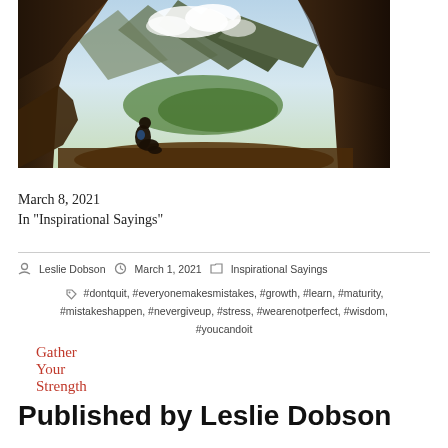[Figure (photo): A person sitting inside a cave opening, silhouetted against a dramatic mountain landscape with clouds and green valleys below]
Gather Your Strength
March 8, 2021
In "Inspirational Sayings"
By Leslie Dobson    March 1, 2021    Inspirational Sayings
#dontquit, #everyonemakesmistakes, #growth, #learn, #maturity, #mistakeshappen, #nevergiveup, #stress, #wearenotperfect, #wisdom, #youcandoit
Published by Leslie Dobson